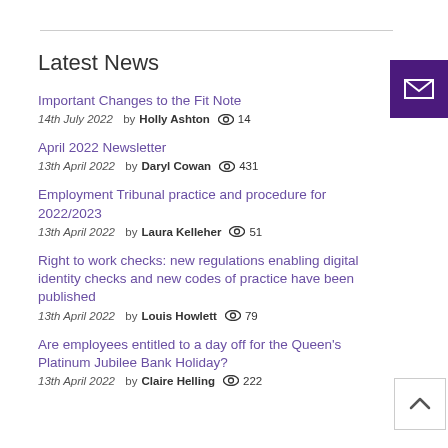Latest News
Important Changes to the Fit Note
14th July 2022   by Holly Ashton   👁 14
April 2022 Newsletter
13th April 2022   by Daryl Cowan   👁 431
Employment Tribunal practice and procedure for 2022/2023
13th April 2022   by Laura Kelleher   👁 51
Right to work checks: new regulations enabling digital identity checks and new codes of practice have been published
13th April 2022   by Louis Howlett   👁 79
Are employees entitled to a day off for the Queen's Platinum Jubilee Bank Holiday?
13th April 2022   by Claire Helling   👁 222